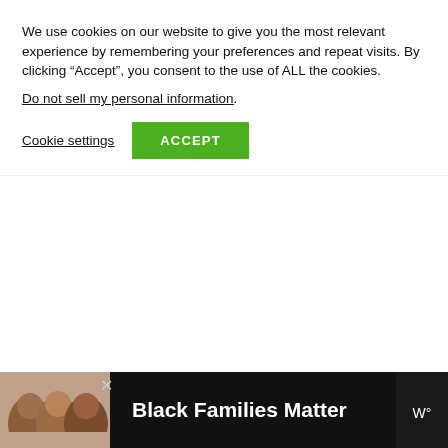We use cookies on our website to give you the most relevant experience by remembering your preferences and repeat visits. By clicking “Accept”, you consent to the use of ALL the cookies. Do not sell my personal information.
Cookie settings   ACCEPT
reasonably so, be sure to take time to admire the landscape from different angles along the way up and back down.
ADVERTISEMENT
[Figure (photo): Ad banner at bottom showing three smiling people with text 'Black Families Matter' and a media logo]